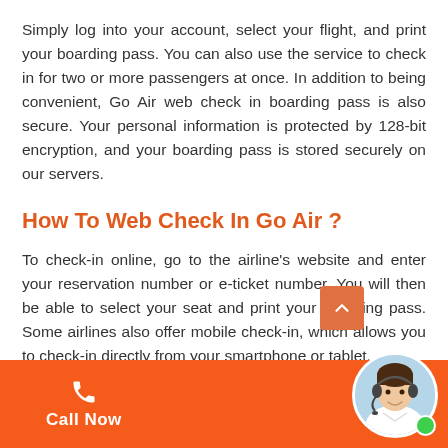Simply log into your account, select your flight, and print your boarding pass. You can also use the service to check in for two or more passengers at once. In addition to being convenient, Go Air web check in boarding pass is also secure. Your personal information is protected by 128-bit encryption, and your boarding pass is stored securely on our servers.
How To Web Check In Go Air ?
To check-in online, go to the airline's website and enter your reservation number or e-ticket number. You will then be able to select your seat and print your boarding pass. Some airlines also offer mobile check-in, which allows you to check-in directly from your smartphone or tablet.
If you are travelling with checked baggage, you will need to drop off your bags at the airport check-in counter before proceeding to the gate. Be sure to arrive at the airp...